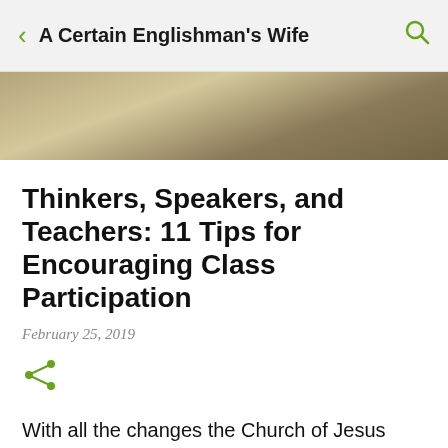A Certain Englishman's Wife
[Figure (photo): Blurred background hero image with warm tan/brown tones]
Thinkers, Speakers, and Teachers: 11 Tips for Encouraging Class Participation
February 25, 2019
With all the changes the Church of Jesus Christ of Latter-day Saints has been experiencing lately, I wonder if the next one might be the 9th Article of Faith. I keep waiting for President Russell M.